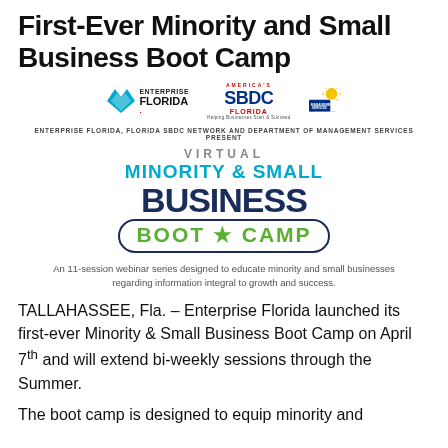First-Ever Minority and Small Business Boot Camp
[Figure (logo): Event promotional banner showing Enterprise Florida, America's SBDC Florida, and Department of Management Services logos, with 'Virtual Minority & Small Business Boot Camp' event branding]
An 11-session webinar series designed to educate minority and small businesses regarding information integral to growth and success.
TALLAHASSEE, Fla. – Enterprise Florida launched its first-ever Minority & Small Business Boot Camp on April 7th and will extend bi-weekly sessions through the Summer.
The boot camp is designed to equip minority and